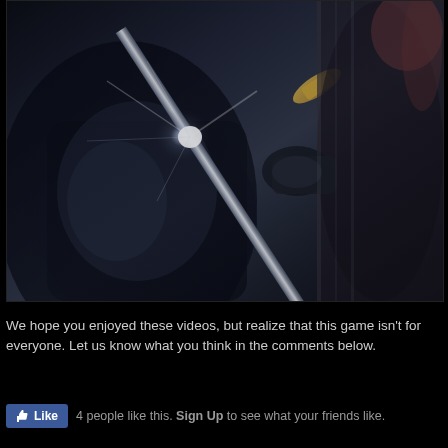[Figure (screenshot): A video game screenshot showing a character wielding a large ornate sword with a glowing white energy burst at the point of impact. The scene is dark and dramatic with blues and grays, featuring what appears to be a female character on the right side in dark clothing, and an enemy figure on the left being struck.]
We hope you enjoyed these videos, but realize that this game isn't for everyone. Let us know what you think in the comments below.
4 people like this. Sign Up to see what your friends like.